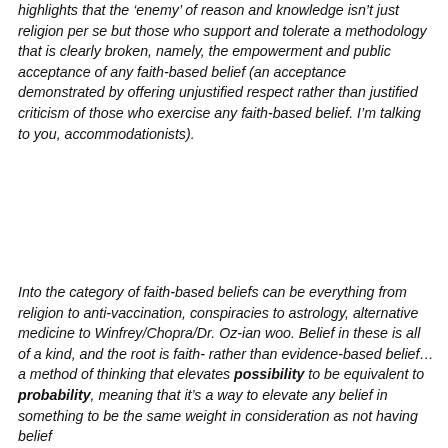highlights that the 'enemy' of reason and knowledge isn't just religion per se but those who support and tolerate a methodology that is clearly broken, namely, the empowerment and public acceptance of any faith-based belief (an acceptance demonstrated by offering unjustified respect rather than justified criticism of those who exercise any faith-based belief. I'm talking to you, accommodationists).
Into the category of faith-based beliefs can be everything from religion to anti-vaccination, conspiracies to astrology, alternative medicine to Winfrey/Chopra/Dr. Oz-ian woo. Belief in these is all of a kind, and the root is faith- rather than evidence-based belief… a method of thinking that elevates possibility to be equivalent to probability, meaning that it's a way to elevate any belief in something to be the same weight in consideration as not having belief